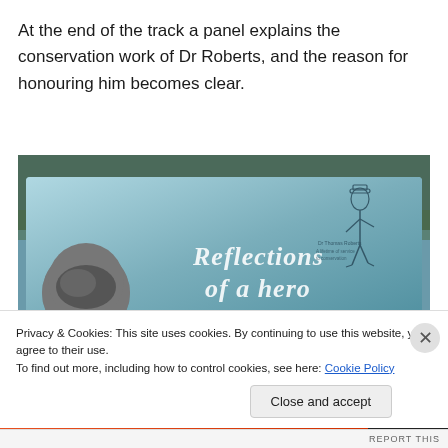At the end of the track a panel explains the conservation work of Dr Roberts, and the reason for honouring him becomes clear.
[Figure (photo): A conservation panel sign titled 'Reflections of a hero' with a blue background, showing a circular photo of an animal (likely a wombat or similar marsupial) on the left and a sketch illustration of a man in a suit on the right, set against a backdrop of trees.]
Privacy & Cookies: This site uses cookies. By continuing to use this website, you agree to their use.
To find out more, including how to control cookies, see here: Cookie Policy
Close and accept